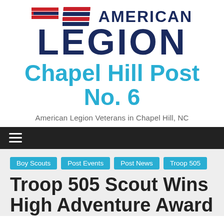[Figure (logo): American Legion Chapel Hill Post No. 6 logo with flag stripes icon, bold navy AMERICAN LEGION text, and cyan Chapel Hill Post No. 6 subtitle]
American Legion Veterans in Chapel Hill, NC
Boy Scouts
Post Events
Post News
Troop 505
Troop 505 Scout Wins High Adventure Award